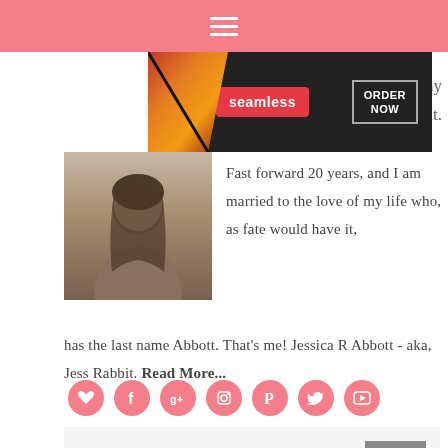≡
[Figure (photo): Seamless pizza food delivery advertisement banner with pizza images, Seamless logo in red, and ORDER NOW button]
ny
it.
[Figure (photo): Profile photo of a woman with dark hair wearing a brown/tan top]
Fast forward 20 years, and I am married to the love of my life who, as fate would have it, has the last name Abbott. That's me! Jessica R Abbott - aka, Jess Rabbit. Read More...
[Figure (infographic): Row of 7 pink circular social media icons: heart/Bloglovin, Facebook, Google+, Instagram, Pinterest, Twitter, YouTube]
STAY UPDATED!
[Figure (photo): Second Seamless pizza food delivery advertisement banner with pizza images, Seamless logo in red, and ORDER NOW button]